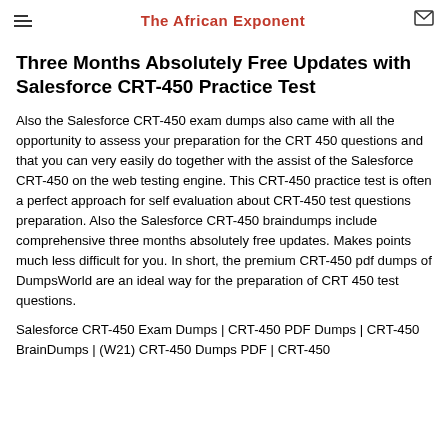The African Exponent
Three Months Absolutely Free Updates with Salesforce CRT-450 Practice Test
Also the Salesforce CRT-450 exam dumps also came with all the opportunity to assess your preparation for the CRT 450 questions and that you can very easily do together with the assist of the Salesforce CRT-450 on the web testing engine. This CRT-450 practice test is often a perfect approach for self evaluation about CRT-450 test questions preparation. Also the Salesforce CRT-450 braindumps include comprehensive three months absolutely free updates. Makes points much less difficult for you. In short, the premium CRT-450 pdf dumps of DumpsWorld are an ideal way for the preparation of CRT 450 test questions.
Salesforce CRT-450 Exam Dumps | CRT-450 PDF Dumps | CRT-450 BrainDumps | (W21) CRT-450 Dumps PDF | CRT-450